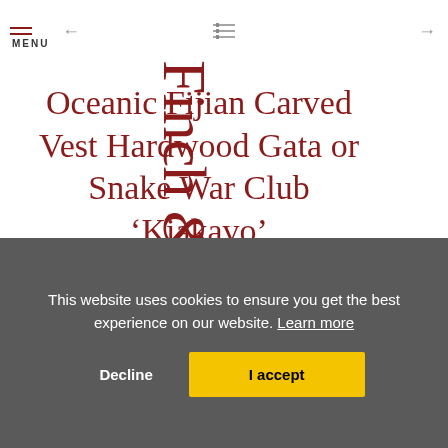MENU ← ≡ →
Oceanic Fijian Carved Vest Hardwood Gata or Snake War Club 'Kiakavo'
[Figure (logo): Finch & Co rotated brand text in dark red on right side]
FULLSCREEN   PRINT   SHARE
[Figure (photo): Dark background photo showing Fijian war club objects]
This website uses cookies to ensure you get the best experience on our website. Learn more
Decline   I accept